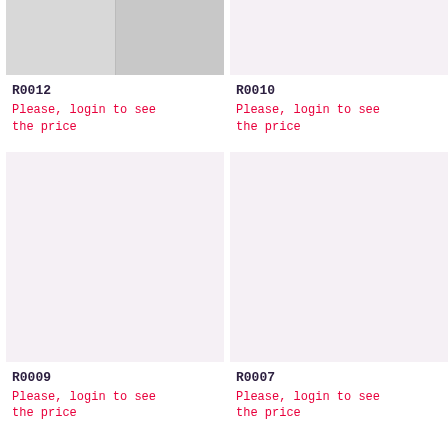[Figure (photo): Two jewelry photos side by side: a silver ring on white background and a turquoise ring on a hand]
R0012
Please, login to see the price
[Figure (photo): Light pink/lavender placeholder image area]
R0010
Please, login to see the price
[Figure (photo): Light pink/lavender placeholder image area for R0009]
R0009
Please, login to see the price
[Figure (photo): Light pink/lavender placeholder image area for R0007]
R0007
Please, login to see the price